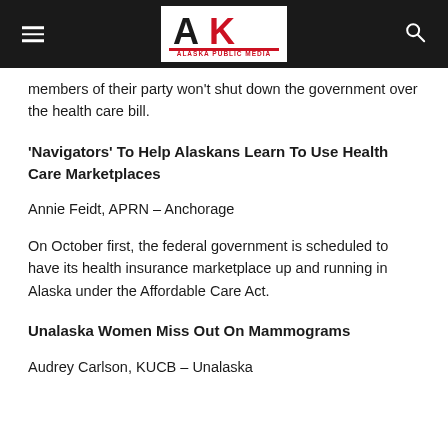Alaska Public Media
members of their party won't shut down the government over the health care bill.
'Navigators' To Help Alaskans Learn To Use Health Care Marketplaces
Annie Feidt, APRN – Anchorage
On October first, the federal government is scheduled to have its health insurance marketplace up and running in Alaska under the Affordable Care Act.
Unalaska Women Miss Out On Mammograms
Audrey Carlson, KUCB – Unalaska